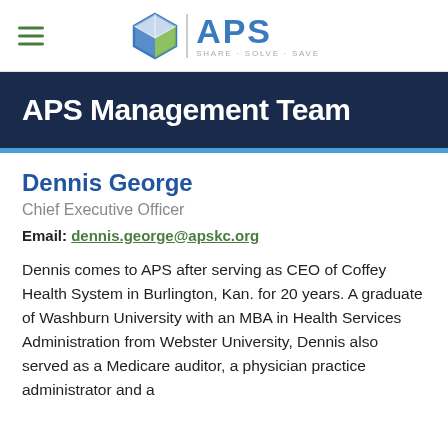APS | SHARE · SOLVE · SAVE
APS Management Team
Dennis George
Chief Executive Officer
Email: dennis.george@apskc.org
Dennis comes to APS after serving as CEO of Coffey Health System in Burlington, Kan. for 20 years. A graduate of Washburn University with an MBA in Health Services Administration from Webster University, Dennis also served as a Medicare auditor, a physician practice administrator and a